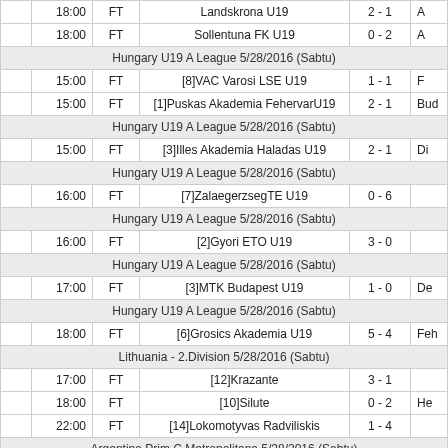|  | Time | FT | Team | Score | Opponent |
| --- | --- | --- | --- | --- | --- |
|  | 18:00 | FT | Landskrona U19 | 2 - 1 | A |
|  | 18:00 | FT | Sollentuna FK U19 | 0 - 2 | A |
| Hungary U19 A League 5/28/2016 (Sabtu) |  |  |  |  |  |
|  | 15:00 | FT | [8]VAC Varosi LSE U19 | 1 - 1 | F |
|  | 15:00 | FT | [1]Puskas Akademia FehervarU19 | 2 - 1 | Bud |
| Hungary U19 A League 5/28/2016 (Sabtu) |  |  |  |  |  |
|  | 15:00 | FT | [3]Illes Akademia Haladas U19 | 2 - 1 | Di |
| Hungary U19 A League 5/28/2016 (Sabtu) |  |  |  |  |  |
|  | 16:00 | FT | [7]ZalaegerzsegTE U19 | 0 - 6 |  |
| Hungary U19 A League 5/28/2016 (Sabtu) |  |  |  |  |  |
|  | 16:00 | FT | [2]Gyori ETO U19 | 3 - 0 |  |
| Hungary U19 A League 5/28/2016 (Sabtu) |  |  |  |  |  |
|  | 17:00 | FT | [3]MTK Budapest U19 | 1 - 0 | De |
| Hungary U19 A League 5/28/2016 (Sabtu) |  |  |  |  |  |
|  | 18:00 | FT | [6]Grosics Akademia U19 | 5 - 4 | Feh |
| Lithuania - 2.Division 5/28/2016 (Sabtu) |  |  |  |  |  |
|  | 17:00 | FT | [12]Krazante | 3 - 1 |  |
|  | 18:00 | FT | [10]Silute | 0 - 2 | He |
|  | 22:00 | FT | [14]Lokomotyvas Radviliskis | 1 - 4 |  |
| Argentina Prim C Metropolitana 5/28/2016 (Sabtu) |  |  |  |  |  |